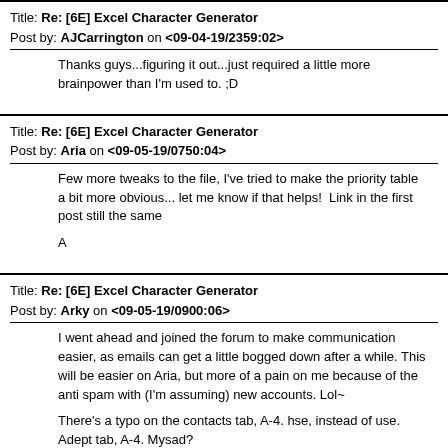Title: Re: [6E] Excel Character Generator
Post by: AJCarrington on <09-04-19/2359:02>
Thanks guys...figuring it out...just required a little more brainpower than I'm used to. ;D
Title: Re: [6E] Excel Character Generator
Post by: Aria on <09-05-19/0750:04>
Few more tweaks to the file, I've tried to make the priority table a bit more obvious... let me know if that helps!  Link in the first post still the same

A
Title: Re: [6E] Excel Character Generator
Post by: Arky on <09-05-19/0900:06>
I went ahead and joined the forum to make communication easier, as emails can get a little bogged down after a while. This will be easier on Aria, but more of a pain on me because of the anti spam with (I'm assuming) new accounts. Lol~

There's a typo on the contacts tab, A-4. hse, instead of use. Adept tab, A-4. Mysad?